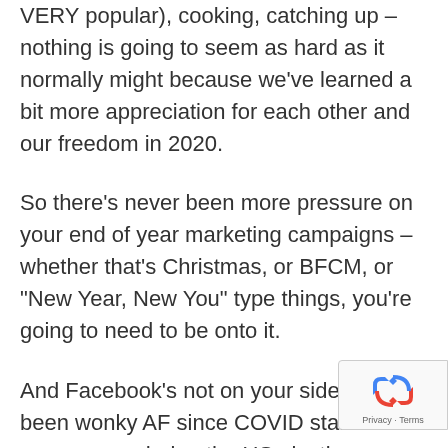VERY popular), cooking, catching up – nothing is going to seem as hard as it normally might because we've learned a bit more appreciation for each other and our freedom in 2020.
So there's never been more pressure on your end of year marketing campaigns – whether that's Christmas, or BFCM, or "New Year, New You" type things, you're going to need to be onto it.
And Facebook's not on your side – it's been wonky AF since COVID started and even worse during the US election.
So here's some stuff you need to consider to set your marketing campaigns up for success.
[Figure (other): reCAPTCHA privacy badge in bottom right corner showing a recycling-arrow logo and 'Privacy - Terms' text]